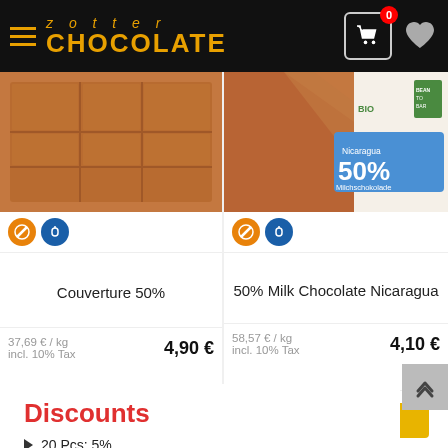zotter CHOCOLATE
[Figure (photo): Couverture 50% chocolate bar product image]
[Figure (photo): 50% Milk Chocolate Nicaragua product image with blue label showing Nicaragua 50% Milchschokolade]
Couverture 50%
37,69 € / kg
incl. 10% Tax
4,90 €
Add to Basket
50% Milk Chocolate Nicaragua
58,57 € / kg
incl. 10% Tax
4,10 €
Add to Basket
Discounts
20 Pcs: 5%